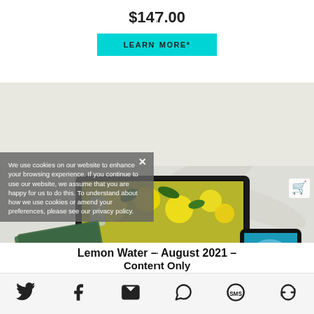$147.00
LEARN MORE*
[Figure (photo): Product mockup showing lemon water content on desktop monitor, a booklet/folder, and tablet with infused water ebook cover. Lemon water themed imagery with lemons and mint leaves.]
We use cookies on our website to enhance your browsing experience. If you continue to use our website, we assume that you are happy for us to do this. To understand about how we use cookies or amend your preferences, please see our privacy policy.
Lemon Water – August 2021 – Content Only